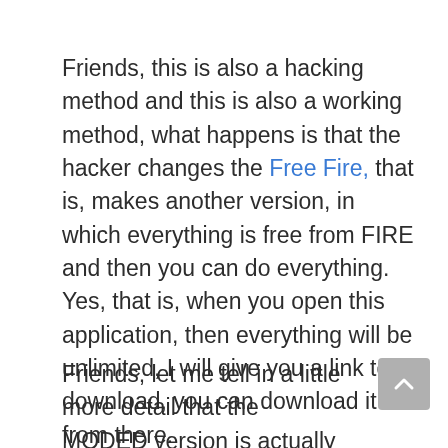Friends, this is also a hacking method and this is also a working method, what happens is that the hacker changes the Free Fire, that is, makes another version, in which everything is free from FIRE and then you can do everything. Yes, that is, when you open this application, then everything will be unlimited, I will give you a link to download, you can download it from there.
Friends, let me tell in a little more detail that the MODED version is actually the